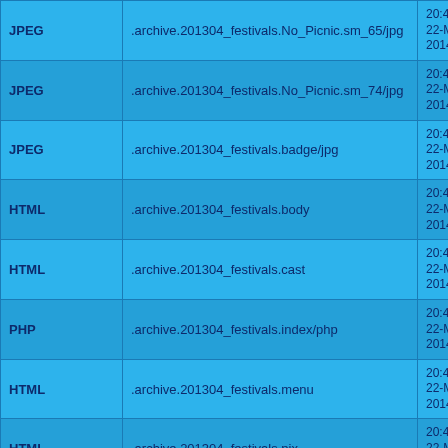| Type | Path | Date |
| --- | --- | --- |
| JPEG | .archive.201304_festivals.No_Picnic.sm_65/jpg | 20:47:39 22-Mar-2014 |
| JPEG | .archive.201304_festivals.No_Picnic.sm_74/jpg | 20:47:39 22-Mar-2014 |
| JPEG | .archive.201304_festivals.badge/jpg | 20:47:39 22-Mar-2014 |
| HTML | .archive.201304_festivals.body | 20:47:39 22-Mar-2014 |
| HTML | .archive.201304_festivals.cast | 20:47:39 22-Mar-2014 |
| PHP | .archive.201304_festivals.index/php | 20:47:39 22-Mar-2014 |
| HTML | .archive.201304_festivals.menu | 20:47:39 22-Mar-2014 |
| HTML | .archive.201304_festivals.pix | 20:47:39 22-Mar-2014 |
| PHP | .archive.201304_festivals.variables | 20:47:39 22-Mar-2014 |
| Dir | .archive.201307_MidsummerNightsDream | 20:47:39 22-Mar-2014 |
| MSWord | .archive.201307_MidsummerNightsDream.A MIDSUMMER NIGHT/doc | 20:47:39 22-Mar-2014 |